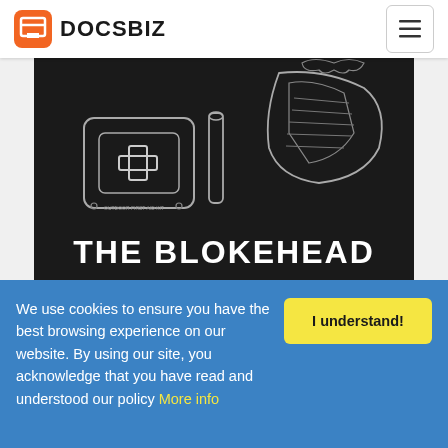DOCSBIZ
[Figure (illustration): Book cover image on dark background showing outdoor first aid kit, flashlight, and other survival gear line drawings in white, with text THE BLOKEHEAD at the bottom]
Bushcraft: Bushcraft Skills For Beginners.
We use cookies to ensure you have the best browsing experience on our website. By using our site, you acknowledge that you have read and understood our policy More info